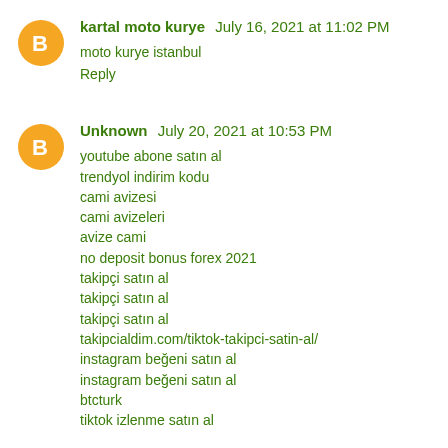[Figure (illustration): Orange circular avatar with white blogger 'b' icon for kartal moto kurye]
kartal moto kurye July 16, 2021 at 11:02 PM
moto kurye istanbul
Reply
[Figure (illustration): Orange circular avatar with white blogger 'b' icon for Unknown]
Unknown July 20, 2021 at 10:53 PM
youtube abone satın al
trendyol indirim kodu
cami avizesi
cami avizeleri
avize cami
no deposit bonus forex 2021
takipçi satın al
takipçi satın al
takipçi satın al
takipcialdim.com/tiktok-takipci-satin-al/
instagram beğeni satın al
instagram beğeni satın al
btcturk
tiktok izlenme satın al